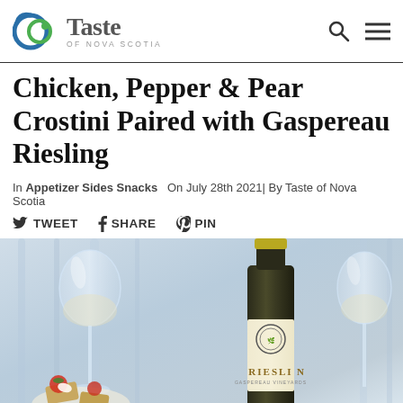Taste of Nova Scotia
Chicken, Pepper & Pear Crostini Paired with Gaspereau Riesling
In Appetizer Sides Snacks  On July 28th 2021| By Taste of Nova Scotia
TWEET  SHARE  PIN
[Figure (photo): Photo of Gaspereau Riesling wine bottle with wine glasses and crostini appetizers]